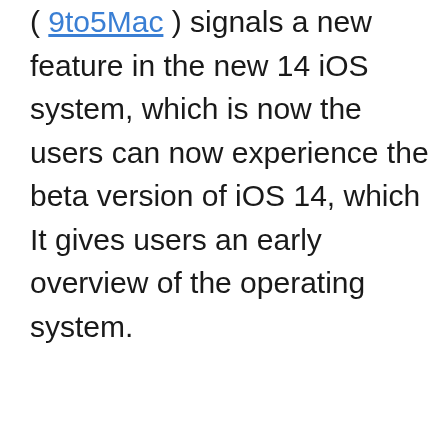( 9to5Mac ) signals a new feature in the new 14 iOS system, which is now the users can now experience the beta version of iOS 14, which It gives users an early overview of the operating system.